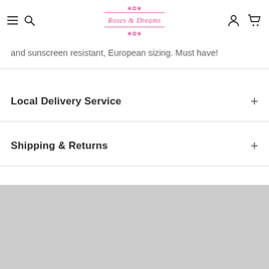Roses & Dreams — navigation header with hamburger menu, search, account, and cart icons
and sunscreen resistant, European sizing. Must have!
Local Delivery Service
Shipping & Returns